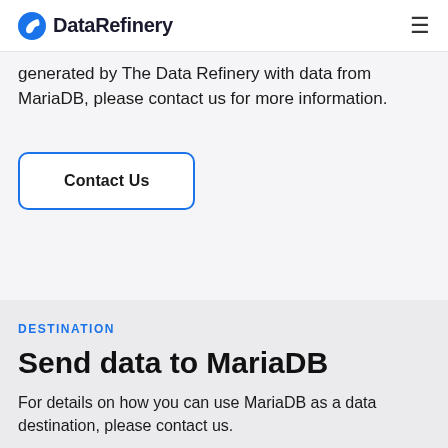DataRefinery
generated by The Data Refinery with data from MariaDB, please contact us for more information.
Contact Us
DESTINATION
Send data to MariaDB
For details on how you can use MariaDB as a data destination, please contact us.